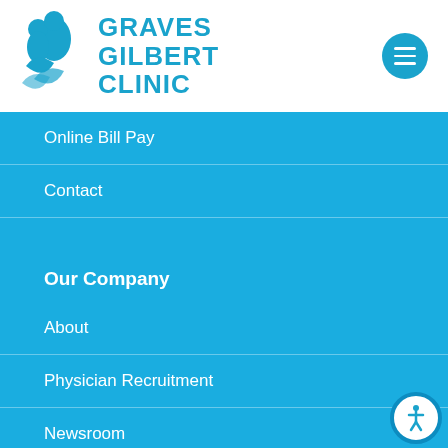[Figure (logo): Graves Gilbert Clinic logo with blue circular icon of two people and leaf shapes, with clinic name in bold blue text]
Online Bill Pay
Contact
Our Company
About
Physician Recruitment
Newsroom
Events